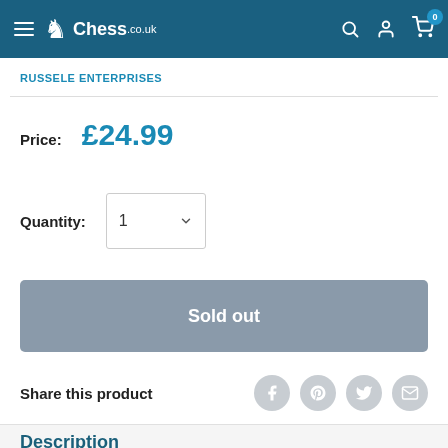Chess.co.uk navigation bar with logo, search, account, and cart icons
RUSSELE ENTERPRISES
Price: £24.99
Quantity: 1
Sold out
Share this product
Description